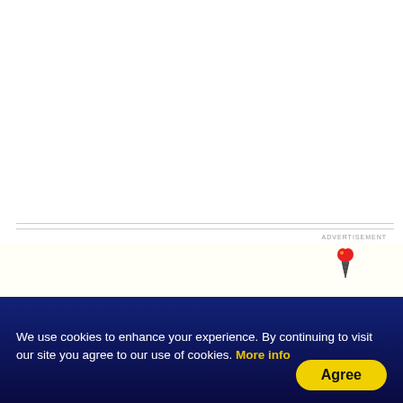ADVERTISEMENT
[Figure (logo): Small ice cream cone logo with red strawberry top and dark cone, positioned in advertisement area]
[Figure (logo): Lidl logo box in lower right area with social media icons bar behind it]
We use cookies to enhance your experience. By continuing to visit our site you agree to our use of cookies. More info
Agree